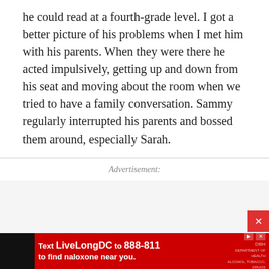he could read at a fourth-grade level. I got a better picture of his problems when I met him with his parents. When they were there he acted impulsively, getting up and down from his seat and moving about the room when we tried to have a family conversation. Sammy regularly interrupted his parents and bossed them around, especially Sarah.
Advertisement:
[Figure (photo): Advertisement banner: Text LiveLongDC to 888-811 to find naloxone near you. Red background with logo.]